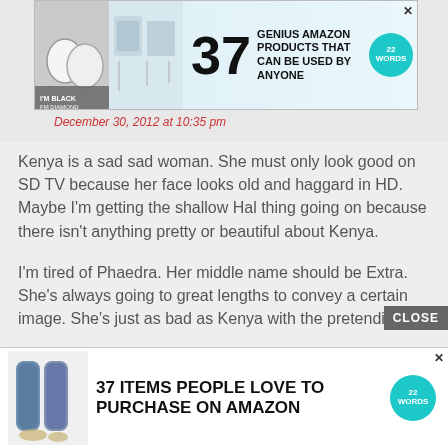[Figure (other): Advertisement banner at top: '37 GENIUS AMAZON PRODUCTS THAT CAN BE USED BY ANYONE' with product photos and 22Words logo]
December 30, 2012 at 10:35 pm
Kenya is a sad sad woman. She must only look good on SD TV because her face looks old and haggard in HD. Maybe I'm getting the shallow Hal thing going on because there isn't anything pretty or beautiful about Kenya.
I'm tired of Phaedra. Her middle name should be Extra. She's always going to great lengths to convey a certain image. She's just as bad as Kenya with the pretending.
Kordell was drunk…I like the guys together. This adds a new dynamic. It's less division since the wig left.
[Figure (other): Advertisement banner at bottom: '37 ITEMS PEOPLE LOVE TO PURCHASE ON AMAZON' with product photos and 22Words logo]